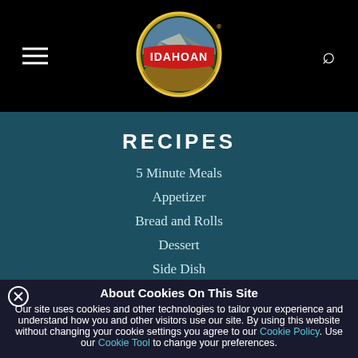[Figure (logo): Idahoan brand logo in oval shape with gold border, red banner with white IDAHOAN text, mountain and field scene]
RECIPES
5 Minute Meals
Appetizer
Bread and Rolls
Dessert
Side Dish
Entrée
Breakfast
Bowls
About Cookies On This Site
Our site uses cookies and other technologies to tailor your experience and understand how you and other visitors use our site. By using this website without changing your cookie settings you agree to our Cookie Policy. Use our Cookie Tool to change your preferences.